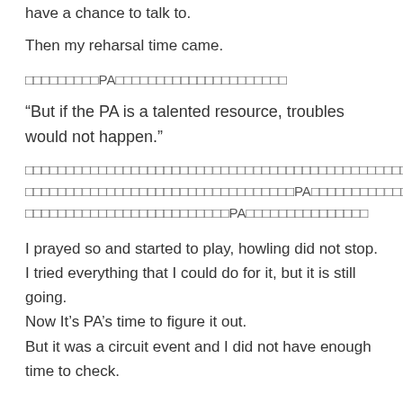have a chance to talk to.
Then my reharsal time came.
□□□□□□□□□PA□□□□□□□□□□□□□□□□□□□□□
“But if the PA is a talented resource, troubles would not happen.”
□□□□□□□□□□□□□□□□□□□□□□□□□□□□□□□□□□□□□□□□□□□□□□□□□□PA□□□□□□□□□□□□□□□□□□□□□□□□□□□□□□□□□□□□□PA□□□□□□□□□□□□□□□□□□□□□□□□□□□□□□□□□□□PA□□□□□□□□□□□□□□
I prayed so and started to play, howling did not stop.
I tried everything that I could do for it, but it is still going.
Now It’s PA’s time to figure it out.
But it was a circuit event and I did not have enough time to check.